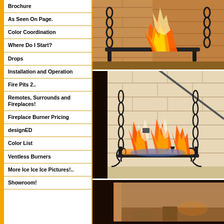Brochure
As Seen On Page.
Color Coordination
Where Do I Start?
Drops
Installation and Operation
Fire Pits 2..
Remotes, Surrounds and Fireplaces!
Fireplace Burner Pricing
designED
Color List
Ventless Burners
More Ice Ice Ice Pictures!..
Showroom!
[Figure (photo): Fireplace with decorative iron grate and burning flames against brick background]
[Figure (photo): Fireplace with ornate iron fire grate and large burning flames, blue and orange, against white brick wall]
[Figure (photo): Partial view of a fireplace showroom interior]